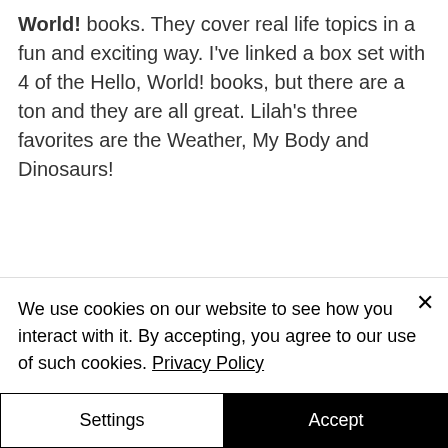World! books. They cover real life topics in a fun and exciting way. I've linked a box set with 4 of the Hello, World! books, but there are a ton and they are all great. Lilah's three favorites are the Weather, My Body and Dinosaurs!
[Figure (screenshot): Partial Amazon logo with orange underline bar, partially visible behind cookie banner]
We use cookies on our website to see how you interact with it. By accepting, you agree to our use of such cookies. Privacy Policy
Settings
Accept